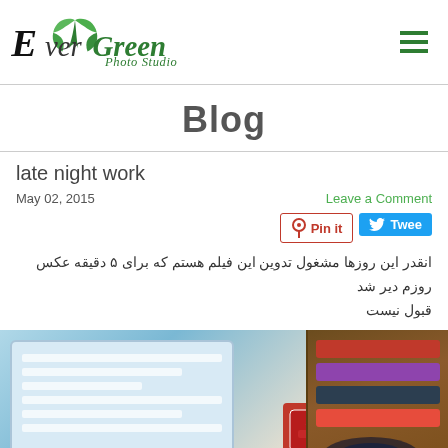[Figure (logo): EverGreen Photo Studio logo with green leaves and stylized text]
Blog
late night work
May 02, 2015
Leave a Comment
Pin it
Tweet
انقدر این روزها مشغول تدوین این فیلم هستم که برای ۵ دقیقه عکس روزم دیر شد قبول نیست
[Figure (photo): Photo of a tablet/laptop with documents, a red camera memory card, and a brown bag with accessories]